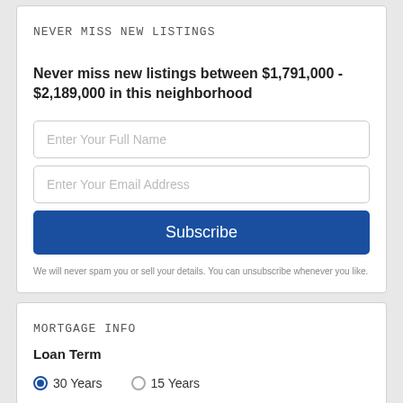Never Miss New Listings
Never miss new listings between $1,791,000 - $2,189,000 in this neighborhood
Enter Your Full Name
Enter Your Email Address
Subscribe
We will never spam you or sell your details. You can unsubscribe whenever you like.
Mortgage Info
Loan Term
30 Years
15 Years